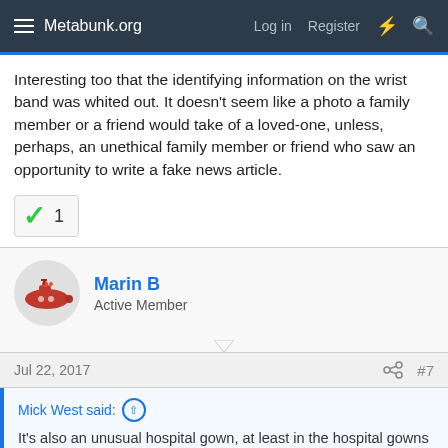Metabunk.org   Log in   Register
Interesting too that the identifying information on the wrist band was whited out. It doesn't seem like a photo a family member or a friend would take of a loved-one, unless, perhaps, an unethical family member or friend who saw an opportunity to write a fake news article.
1
Marin B
Active Member
Jul 22, 2017   #7
Mick West said:
It's also an unusual hospital gown, at least in the hospital gowns I've seen in Google Image searches. Yellow with a leaf pattern. I've not found one like it.